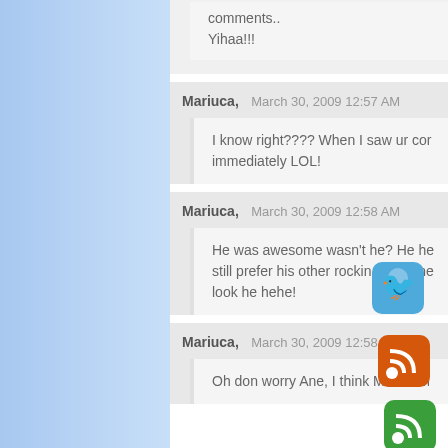comments.. Yihaa!!!
Mariuca, March 30, 2009 12:57 AM
I know right???? When I saw ur com immediately LOL!
Mariuca, March 30, 2009 12:58 AM
He was awesome wasn't he? He he still prefer his other rockin lo Ane look he hehe!
Mariuca, March 30, 2009 12:58 AM
Oh don worry Ane, I think MPG's M